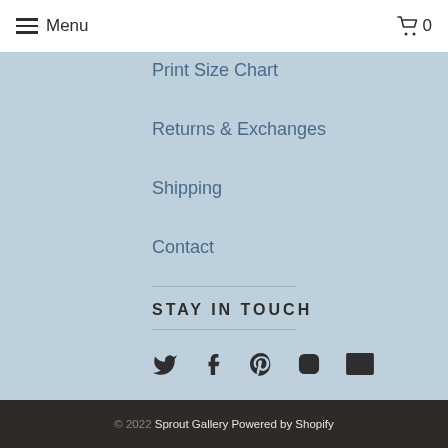Menu  0
Print Size Chart
Returns & Exchanges
Shipping
Contact
STAY IN TOUCH
[Figure (infographic): Social media icons: Twitter, Facebook, Pinterest, Instagram, Email]
© 2022  Sprout Gallery  Powered by Shopify